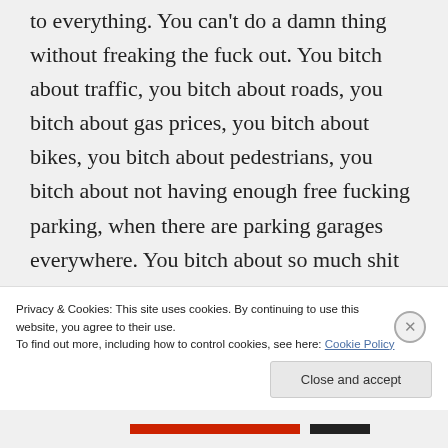to everything. You can't do a damn thing without freaking the fuck out. You bitch about traffic, you bitch about roads, you bitch about gas prices, you bitch about bikes, you bitch about pedestrians, you bitch about not having enough free fucking parking, when there are parking garages everywhere. You bitch about so much shit but you don't do a damn thing about any of it. You drive your vehicles like crazed assholes, killing 30,000+ people every
Privacy & Cookies: This site uses cookies. By continuing to use this website, you agree to their use.
To find out more, including how to control cookies, see here: Cookie Policy
Close and accept